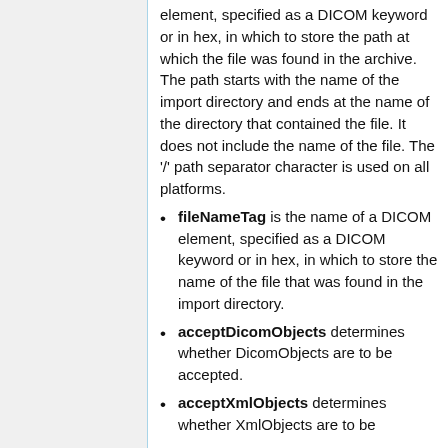element, specified as a DICOM keyword or in hex, in which to store the path at which the file was found in the archive. The path starts with the name of the import directory and ends at the name of the directory that contained the file. It does not include the name of the file. The '/' path separator character is used on all platforms.
fileNameTag is the name of a DICOM element, specified as a DICOM keyword or in hex, in which to store the name of the file that was found in the import directory.
acceptDicomObjects determines whether DicomObjects are to be accepted.
acceptXmlObjects determines whether XmlObjects are to be